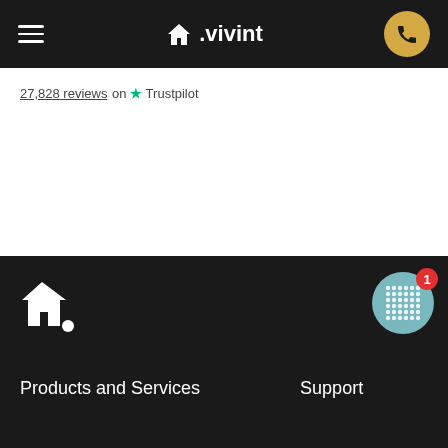vivint navigation bar with hamburger menu, vivint logo, and phone button
27,828 reviews on Trustpilot
[Figure (logo): Vivint home logo (house icon with dot) in white on dark background, bottom left of footer section]
[Figure (other): Circular notification icon with grid/dots pattern and red badge showing number 1, top right of footer section]
Products and Services
Support
Pro Install and $0 Activation
703.495.2650